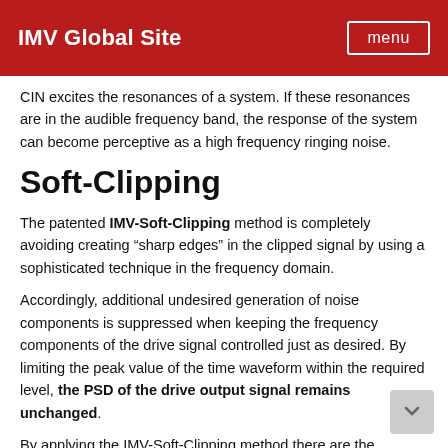IMV Global Site
CIN excites the resonances of a system. If these resonances are in the audible frequency band, the response of the system can become perceptive as a high frequency ringing noise.
Soft-Clipping
The patented IMV-Soft-Clipping method is completely avoiding creating “sharp edges” in the clipped signal by using a sophisticated technique in the frequency domain.
Accordingly, additional undesired generation of noise components is suppressed when keeping the frequency components of the drive signal controlled just as desired. By limiting the peak value of the time waveform within the required level, the PSD of the drive output signal remains unchanged.
By applying the IMV-Soft-Clipping method there are the following potential advantages: